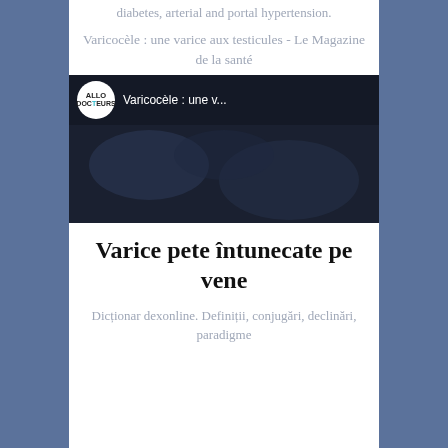diabetes, arterial and portal hypertension.
Varicocèle : une varice aux testicules - Le Magazine de la santé
[Figure (screenshot): YouTube video thumbnail showing Allo Docteurs logo and title 'Varicocèle : une v...' with a play button over a dark surgical scene]
Varice pete întunecate pe vene
Dicționar dexonline. Definiții, conjugări, declinări, paradigme